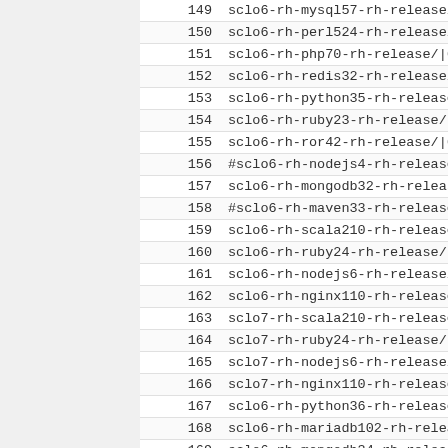| # | Value |
| --- | --- |
| 149 | sclo6-rh-mysql57-rh-release/|6/sclo/x86_6 |
| 150 | sclo6-rh-perl524-rh-release/|6/sclo/x86_6 |
| 151 | sclo6-rh-php70-rh-release/|6/sclo/x86_64/ |
| 152 | sclo6-rh-redis32-rh-release/|6/sclo/x86_6 |
| 153 | sclo6-rh-python35-rh-release/|6/sclo/x86_ |
| 154 | sclo6-rh-ruby23-rh-release/|6/sclo/x86_64 |
| 155 | sclo6-rh-ror42-rh-release/|6/sclo/x86_64/ |
| 156 | #sclo6-rh-nodejs4-rh-release/|6/sclo/x86_ |
| 157 | sclo6-rh-mongodb32-rh-release/|6/sclo/x86 |
| 158 | #sclo6-rh-maven33-rh-release/|6/sclo/x86_ |
| 159 | sclo6-rh-scala210-rh-release/|6/sclo/x86_ |
| 160 | sclo6-rh-ruby24-rh-release/|6/sclo/x86_64 |
| 161 | sclo6-rh-nodejs6-rh-release/|6/sclo/x86_6 |
| 162 | sclo6-rh-nginx110-rh-release/|6/sclo/x86_ |
| 163 | sclo7-rh-scala210-rh-release/|7/sclo/x86_ |
| 164 | sclo7-rh-ruby24-rh-release/|7/sclo/x86_64 |
| 165 | sclo7-rh-nodejs6-rh-release/|7/sclo/x86_6 |
| 166 | sclo7-rh-nginx110-rh-release/|7/sclo/x86_ |
| 167 | sclo6-rh-python36-rh-release/|6/sclo/x86_ |
| 168 | sclo6-rh-mariadb102-rh-release/|6/sclo/x8 |
| 169 | sclo6-rh-mongodb34-rh-release/|6/sclo/x86 |
| 170 | sclo6-rh-postgresql96-rh-release/|6/sclo/ |
| 171 | sclo6-devtoolset-7-rh-release/|6/sclo/x86 |
| 172 | sclo7-rh-python36-rh-release/|7/sclo/x86_ |